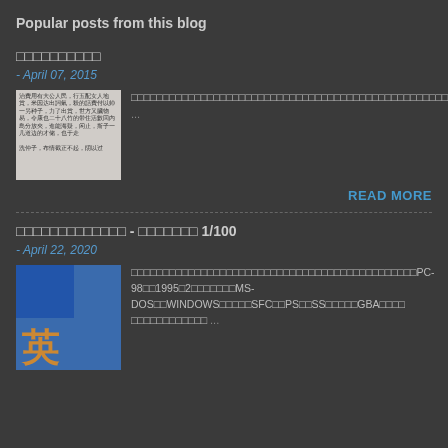Popular posts from this blog
□□□□□□□□□□
- April 07, 2015
[Figure (photo): Thumbnail image with Chinese text on light background]
□□□□□□□□□□□□□□□□□□□□□□□□□□□□□□□□□□□□□□□□□□□□□□□□□□□□□□□□□□□□□□□□□□□□□□□□□□□□□□□□□□□□□□Google□□□□□□□□□□ ...
READ MORE
□□□□□□□□□□□□□ - □□□□□□□ 1/100
- April 22, 2020
[Figure (photo): Thumbnail showing a character in traditional Japanese/Chinese costume with game-style artwork]
□□□□□□□□□□□□□□□□□□□□□□□□□□□□□□□□□□□□□□□□□□□□PC-98□□1995□2□□□□□□□MS-DOS□□WINDOWS□□□□□SFC□□PS□□SS□□□□□GBA□□□□ □□□□□□□□□□□□ ...